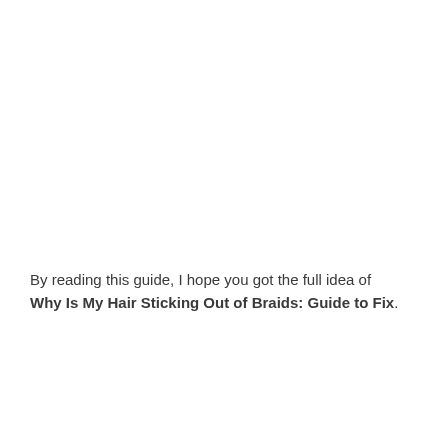By reading this guide, I hope you got the full idea of Why Is My Hair Sticking Out of Braids: Guide to Fix.